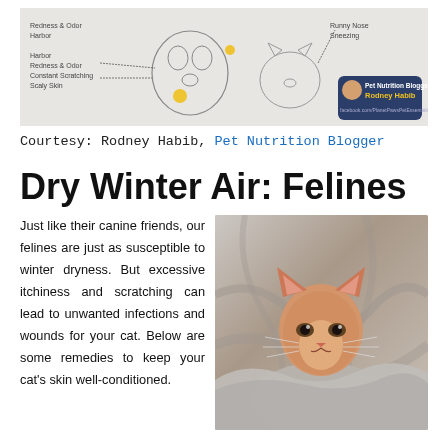[Figure (illustration): Illustration showing pet symptoms like redness and odor, harbor redness and odor, constant scratching, scaly skin, runny nose, sneezing. Includes a badge for 'Pet Nutrition Blogger Rodney Habib' with a cartoon avatar.]
Courtesy: Rodney Habib, Pet Nutrition Blogger
Dry Winter Air: Felines
Just like their canine friends, our felines are just as susceptible to winter dryness. But excessive itchiness and scratching can lead to unwanted infections and wounds for your cat. Below are some remedies to keep your cat's skin well-conditioned.
[Figure (photo): Photo of an orange tabby cat peeking out from under grey blankets/fleece fabric.]